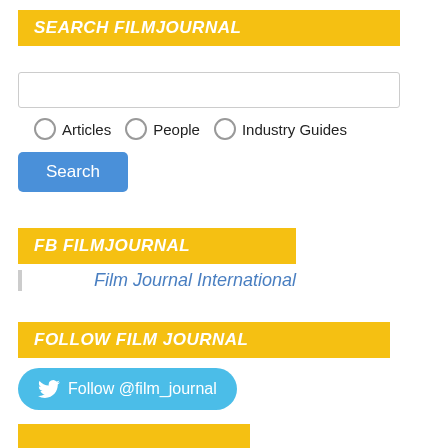SEARCH FILMJOURNAL
[Figure (screenshot): Search input text box]
○ Articles  ○ People  ○ Industry Guides
Search (button)
FB FILMJOURNAL
Film Journal International
FOLLOW FILM JOURNAL
Follow @film_journal
(partial yellow bar at bottom)